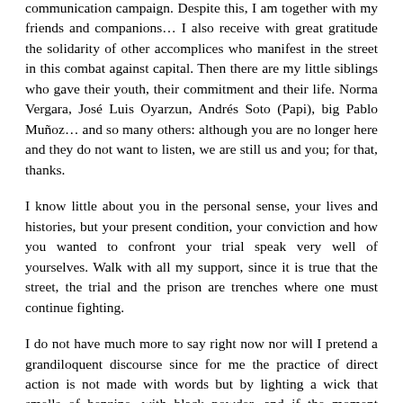communication campaign. Despite this, I am together with my friends and companions… I also receive with great gratitude the solidarity of other accomplices who manifest in the street in this combat against capital. Then there are my little siblings who gave their youth, their commitment and their life. Norma Vergara, José Luis Oyarzun, Andrés Soto (Papi), big Pablo Muñoz… and so many others: although you are no longer here and they do not want to listen, we are still us and you; for that, thanks.
I know little about you in the personal sense, your lives and histories, but your present condition, your conviction and how you wanted to confront your trial speak very well of yourselves. Walk with all my support, since it is true that the street, the trial and the prison are trenches where one must continue fighting.
I do not have much more to say right now nor will I pretend a grandiloquent discourse since for me the practice of direct action is not made with words but by lighting a wick that smells of benzine, with black powder, and if the moment requires (the prison), with closed fists utilizing what they leave us our body exposed to fatigue and hunger.
So then comrades, come what may, say what they will, you will remain proud and exemplary. It was good to know that you exist, so far away, with your histories, your slogans, your bottles and black